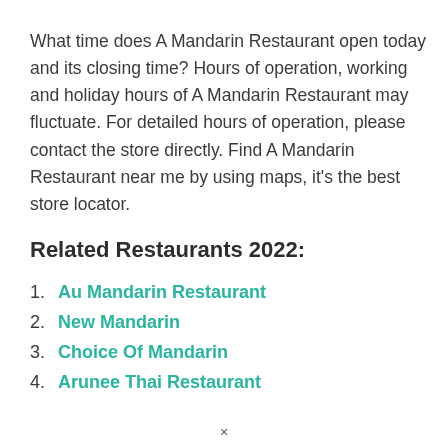What time does A Mandarin Restaurant open today and its closing time? Hours of operation, working and holiday hours of A Mandarin Restaurant may fluctuate. For detailed hours of operation, please contact the store directly. Find A Mandarin Restaurant near me by using maps, it's the best store locator.
Related Restaurants 2022:
1. Au Mandarin Restaurant
2. New Mandarin
3. Choice Of Mandarin
4. Arunee Thai Restaurant